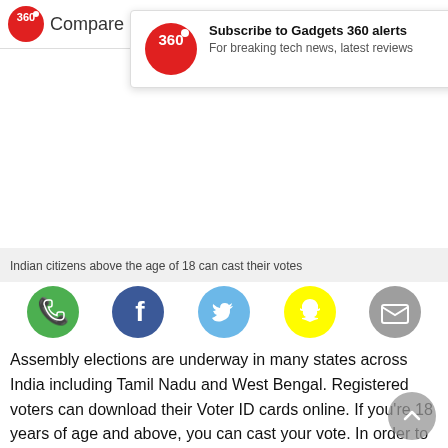360 Compare
[Figure (screenshot): Gadgets 360 notification popup: Subscribe to Gadgets 360 alerts - For breaking tech news, latest reviews]
Indian citizens above the age of 18 can cast their votes
[Figure (infographic): Social sharing icons: WhatsApp (green), Facebook (dark blue), Twitter (blue), Snapchat (yellow), Email (grey)]
Assembly elections are underway in many states across India including Tamil Nadu and West Bengal. Registered voters can download their Voter ID cards online. If you're 18 years of age and above, you can cast your vote. In order to vote, every citizen must have an eligible Voter ID card before going to the poll booth.